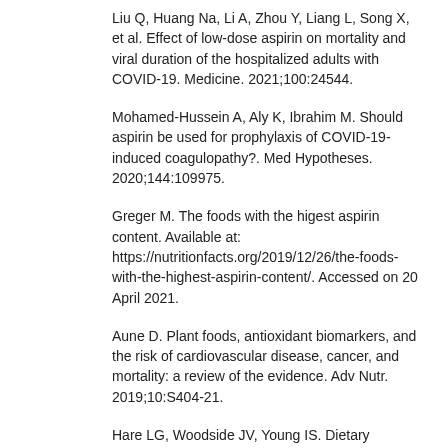Liu Q, Huang Na, Li A, Zhou Y, Liang L, Song X, et al. Effect of low-dose aspirin on mortality and viral duration of the hospitalized adults with COVID-19. Medicine. 2021;100:24544.
Mohamed-Hussein A, Aly K, Ibrahim M. Should aspirin be used for prophylaxis of COVID-19-induced coagulopathy?. Med Hypotheses. 2020;144:109975.
Greger M. The foods with the higest aspirin content. Available at: https://nutritionfacts.org/2019/12/26/the-foods-with-the-highest-aspirin-content/. Accessed on 20 April 2021.
Aune D. Plant foods, antioxidant biomarkers, and the risk of cardiovascular disease, cancer, and mortality: a review of the evidence. Adv Nutr. 2019;10:S404-21.
Hare LG, Woodside JV, Young IS. Dietary salicylates. J Clin Pathol. 2003;56:649-50.
Szczuko M, Romaniuk R. Low salicylate diet and